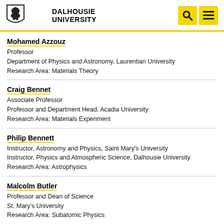DALHOUSIE UNIVERSITY
Mohamed Azzouz
Professor
Department of Physics and Astronomy, Laurentian University
Research Area: Materials Theory
Craig Bennet
Associate Professor
Professor and Department Head, Acadia University
Research Area: Materials Experiment
Philip Bennett
Instructor, Astronomy and Physics, Saint Mary's University
Instructor, Physics and Atmospheric Science, Dalhousie University
Research Area: Astrophysics
Malcolm Butler
Professor and Dean of Science
St. Mary's University
Research Area: Subatomic Physics
Serge Grabtchak